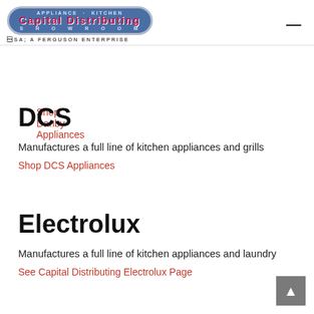[Figure (logo): Capital Distributing Showroom - A Ferguson Enterprise logo, oval shaped badge with blue background, red 'CAPITAL DISTRIBUTING' text, and 'APPLIANCE - KITCHEN' and 'SHOWROOM' surrounding text]
Shop Danby Appliances
DCS
Manufactures a full line of kitchen appliances and grills
Shop DCS Appliances
Electrolux
Manufactures a full line of kitchen appliances and laundry
See Capital Distributing Electrolux Page